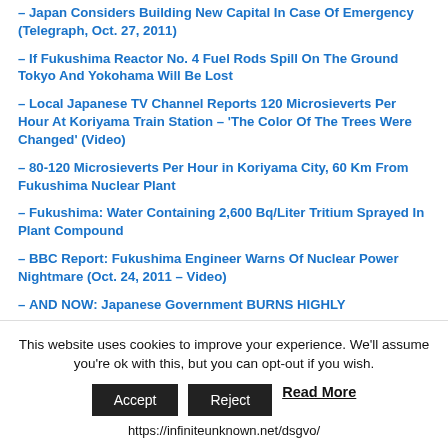– Japan Considers Building New Capital In Case Of Emergency (Telegraph, Oct. 27, 2011)
– If Fukushima Reactor No. 4 Fuel Rods Spill On The Ground Tokyo And Yokohama Will Be Lost
– Local Japanese TV Channel Reports 120 Microsieverts Per Hour At Koriyama Train Station – 'The Color Of The Trees Were Changed' (Video)
– 80-120 Microsieverts Per Hour in Koriyama City, 60 Km From Fukushima Nuclear Plant
– Fukushima: Water Containing 2,600 Bq/Liter Tritium Sprayed In Plant Compound
– BBC Report: Fukushima Engineer Warns Of Nuclear Power Nightmare (Oct. 24, 2011 – Video)
– AND NOW: Japanese Government BURNS HIGHLY
This website uses cookies to improve your experience. We'll assume you're ok with this, but you can opt-out if you wish.
Accept   Reject   Read More
https://infiniteunknown.net/dsgvo/